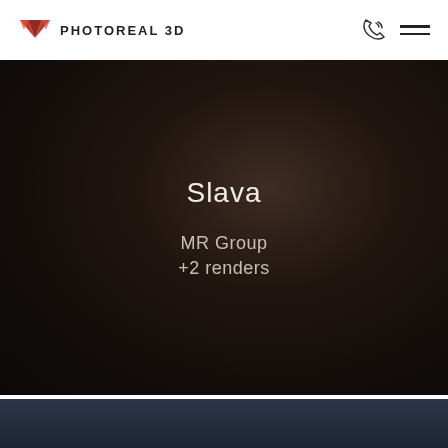PHOTOREAL 3D
[Figure (screenshot): Dark brownish-black atmospheric background with centered text overlay showing 'Slava', 'MR Group', '+2 renders' in light/white font]
[Figure (photo): Dark blue-gray image visible at the bottom of the page, partially cropped]